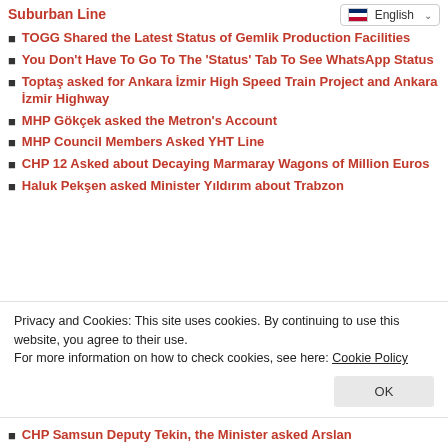Suburban Line
TOGG Shared the Latest Status of Gemlik Production Facilities
You Don't Have To Go To The 'Status' Tab To See WhatsApp Status
Toptaş asked for Ankara İzmir High Speed Train Project and Ankara İzmir Highway
MHP Gökçek asked the Metron's Account
MHP Council Members Asked YHT Line
CHP 12 Asked about Decaying Marmaray Wagons of Million Euros
Haluk Pekşen asked Minister Yıldırım about Trabzon
Privacy and Cookies: This site uses cookies. By continuing to use this website, you agree to their use.
For more information on how to check cookies, see here: Cookie Policy
CHP Samsun Deputy Tekin, the Minister asked Arslan